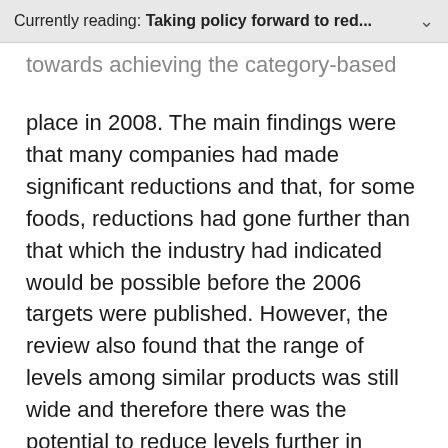Currently reading: Taking policy forward to red...
towards achieving the category-based targets. This took place in 2008. The main findings were that many companies had made significant reductions and that, for some foods, reductions had gone further than that which the industry had indicated would be possible before the 2006 targets were published. However, the review also found that the range of levels among similar products was still wide and therefore there was the potential to reduce levels further in many products.
After consulting in 2008 on proposals for revisions to the targets, in May 2009 the FSA published a new set of stricter salt target levels to be achieved by 2012, covering all existing product categories (with some minor exceptions). These newer targets were considered challenging for the industry to achieve (because of a combination of technical and consumer